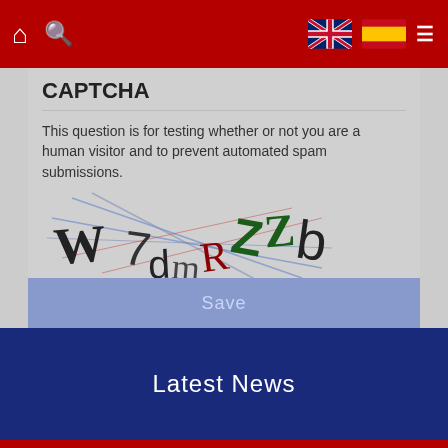[Figure (screenshot): Navigation bar with home icon, search icon, UK flag, Spanish flag, and hamburger menu on red background]
CAPTCHA
This question is for testing whether or not you are a human visitor and to prevent automated spam submissions.
[Figure (other): CAPTCHA image showing distorted characters: W 7 d m R Z Z b with diagonal lines]
What code is in the image? *
Enter the characters shown in the image.
[Figure (other): Refresh/reload icon (circular arrow)]
Save
Latest News